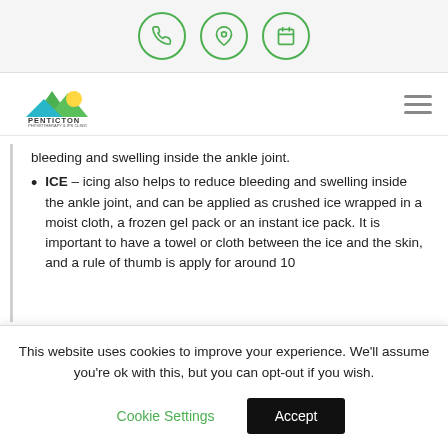[Navigation bar with phone, location, and calendar icon buttons, Penticton Physiotherapy & IPS Clinic logo, and hamburger menu]
bleeding and swelling inside the ankle joint.
ICE – icing also helps to reduce bleeding and swelling inside the ankle joint, and can be applied as crushed ice wrapped in a moist cloth, a frozen gel pack or an instant ice pack. It is important to have a towel or cloth between the ice and the skin, and a rule of thumb is apply for around 10
This website uses cookies to improve your experience. We'll assume you're ok with this, but you can opt-out if you wish.
Cookie Settings    Accept